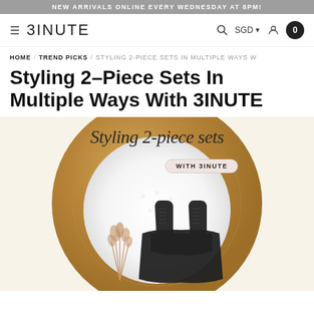NEW ARRIVALS ONLINE EVERY WEDNESDAY AT 8PM!
3INUTE — SGD — 0
HOME / TREND PICKS / STYLING 2-PIECE SETS IN MULTIPLE WAYS W
Styling 2-Piece Sets In Multiple Ways With 3INUTE
[Figure (photo): Promotional fashion photo showing black 2-piece clothing set laid flat on a white fluffy rug atop a wooden circular tray, with dried pampas grass, on a cream background. Overlay script text reads 'Styling 2-piece sets' with a pill badge 'WITH 3INUTE'.]